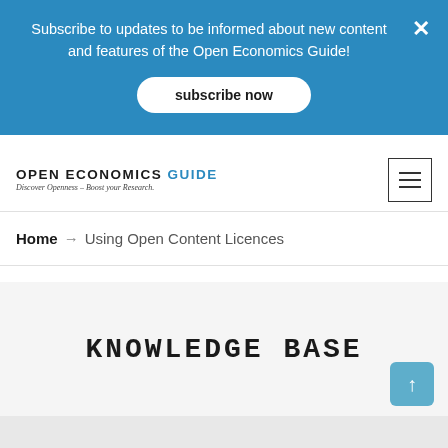Subscribe to updates to be informed about new content and features of the Open Economics Guide!
subscribe now
OPEN ECONOMICS GUIDE — Discover Openness – Boost your Research.
Home → Using Open Content Licences
KNOWLEDGE BASE